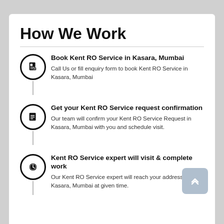How We Work
Book Kent RO Service in Kasara, Mumbai — Call Us or fill enquiry form to book Kent RO Service in Kasara, Mumbai
Get your Kent RO Service request confirmation — Our team will confirm your Kent RO Service Request in Kasara, Mumbai with you and schedule visit.
Kent RO Service expert will visit & complete work — Our Kent RO Service expert will reach your address in Kasara, Mumbai at given time.